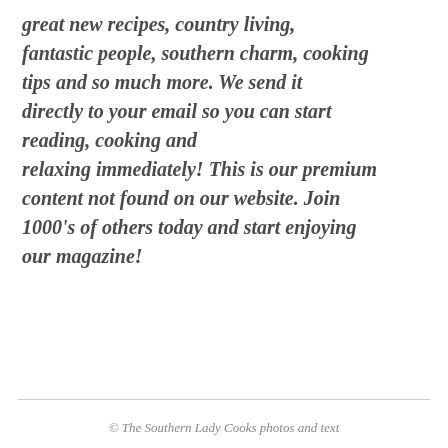great new recipes, country living, fantastic people, southern charm, cooking tips and so much more. We send it directly to your email so you can start reading, cooking and relaxing immediately! This is our premium content not found on our website. Join 1000's of others today and start enjoying our magazine!
© The Southern Lady Cooks photos and text